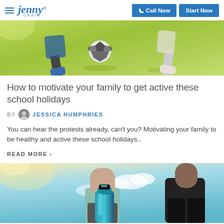Jenny Craig — Call Now | Start Now
[Figure (photo): Children playing soccer on a grass field, legs and soccer ball visible]
How to motivate your family to get active these school holidays
BY JESSICA HUMPHRIES
You can hear the protests already, can't you? Motivating your family to be healthy and active these school holidays..
READ MORE >
[Figure (photo): Two women in athletic wear outdoors with a teal water bottle, fitness/exercise theme]